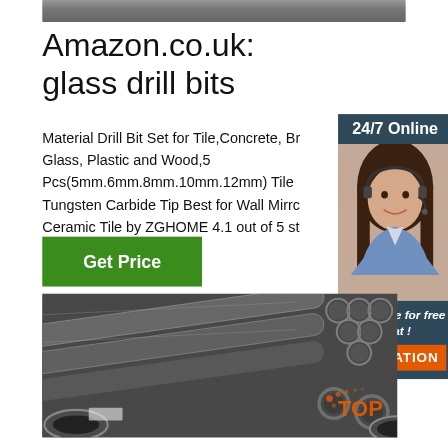[Figure (photo): Top gray/dark banner image bar]
Amazon.co.uk: glass drill bits
Material Drill Bit Set for Tile,Concrete, Br Glass, Plastic and Wood,5 Pcs(5mm.6mm.8mm.10mm.12mm) Tile Tungsten Carbide Tip Best for Wall Mirrc Ceramic Tile by ZGHOME 4.1 out of 5 st
[Figure (photo): Customer service representative with headset, 24/7 Online chat widget with dark teal background, Click here for free chat text, and orange QUOTATION button]
[Figure (other): Get Price green button]
[Figure (photo): Bottom photo of steel/metal pipes stacked together, with TOP logo watermark in lower right]